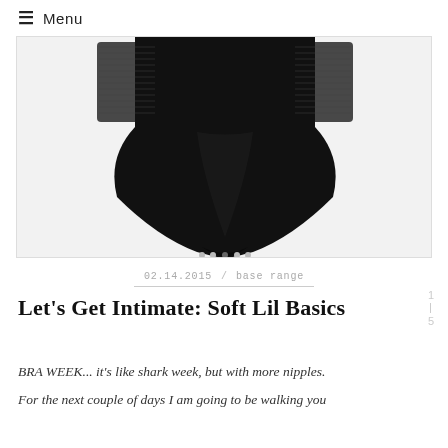≡ Menu
[Figure (photo): Product photo of black high-waisted underwear/bodysuit bottom on a light gray background]
02.14.2015 / base range
Let's Get Intimate: Soft Lil Basics
BRA WEEK... it's like shark week, but with more nipples.
For the next couple of days I am going to be walking you